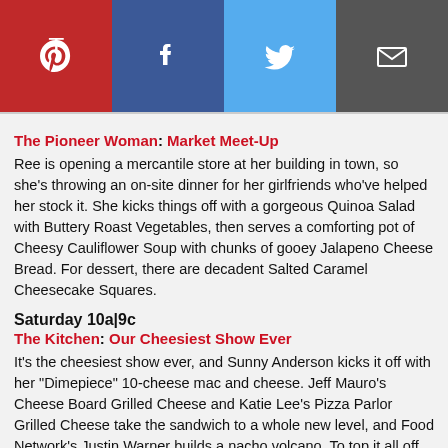[Figure (infographic): Social media sharing bar with four buttons: Pinterest (red), Facebook (dark blue), Twitter (light blue), Email (dark gray), each with white icon]
The Pioneer Woman: Market Meet-Up
Ree is opening a mercantile store at her building in town, so she's throwing an on-site dinner for her girlfriends who've helped her stock it. She kicks things off with a gorgeous Quinoa Salad with Buttery Roast Vegetables, then serves a comforting pot of Cheesy Cauliflower Soup with chunks of gooey Jalapeno Cheese Bread. For dessert, there are decadent Salted Caramel Cheesecake Squares.
Saturday 10a|9c
The Kitchen: Our Cheesiest Show Ever
It's the cheesiest show ever, and Sunny Anderson kicks it off with her "Dimepiece" 10-cheese mac and cheese. Jeff Mauro's Cheese Board Grilled Cheese and Katie Lee's Pizza Parlor Grilled Cheese take the sandwich to a whole new level, and Food Network's Justin Warner builds a nacho volcano. To top it all off, there's Geoffrey Zakarian's Mouse Trap cocktail, plus a cheese-pull challenge!